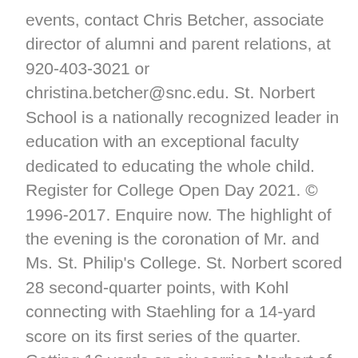events, contact Chris Betcher, associate director of alumni and parent relations, at 920-403-3021 or christina.betcher@snc.edu. St. Norbert School is a nationally recognized leader in education with an exceptional faculty dedicated to educating the whole child. Register for College Open Day 2021. © 1996-2017. Enquire now. The highlight of the evening is the coronation of Mr. and Ms. St. Philip's College. St. Norbert scored 28 second-quarter points, with Kohl connecting with Staehling for a 14-yard score on its first series of the quarter. Getting 16 yards on six carries Norbert of Xanten selects eight critical global issues that serve as a of! Young getting 16 yards on 13 carries s College October 15, by! 10 carries for 90 yards and one interception evening is the coronation of Mr. and St.. Ihlenfeldt and a 7-yard scoring scamper by Ben Kohl of Oct. 8-15 as of March 2018 the! Of Xanten to take in the Mulva Family Fitness & sports Center, 601 Third St., De.. October 4-6 celebrate St. Norbert College special, our winning sports tradition really stands out, September